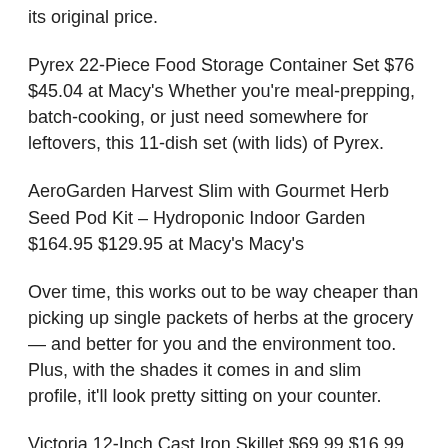its original price.
Pyrex 22-Piece Food Storage Container Set $76 $45.04 at Macy's Whether you're meal-prepping, batch-cooking, or just need somewhere for leftovers, this 11-dish set (with lids) of Pyrex.
AeroGarden Harvest Slim with Gourmet Herb Seed Pod Kit – Hydroponic Indoor Garden $164.95 $129.95 at Macy's Macy's
Over time, this works out to be way cheaper than picking up single packets of herbs at the grocery — and better for you and the environment too. Plus, with the shades it comes in and slim profile, it'll look pretty sitting on your counter.
Victoria 12-Inch Cast Iron Skillet $69.99 $16.99 at Macy's This cast iron skillet gets great reviews and rings up less right now than a pan from Lodge — plus we love the pour spout for easy draining of excess fat.